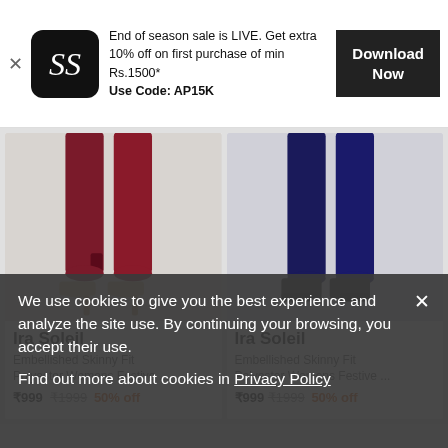[Figure (screenshot): App download banner with SS logo, promotional text about end of season sale, and Download Now button]
End of season sale is LIVE. Get extra 10% off on first purchase of min Rs.1500*
Use Code: AP15K
[Figure (photo): Left product: Ira Soleil Embellished Skinny Fit Polyester Womens Festive legging in maroon/burgundy with beige heels]
Ira Soleil
Embellished Skinny Fit Polyester Womens Festive ...
₹999 ₹1999 50% off
[Figure (photo): Right product: Ira Soleil Embellished Skinny Fit Polyester Womens Festive legging in navy blue with black ankle boots]
Ira Soleil
Embellished Skinny Fit Polyester Womens Festive ...
₹999 ₹1999 50% off
We use cookies to give you the best experience and analyze the site use. By continuing your browsing, you accept their use.
Find out more about cookies in Privacy Policy